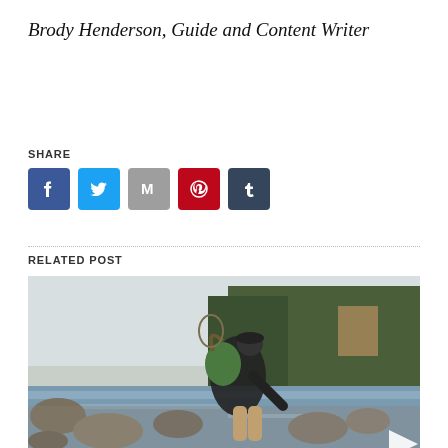Brody Henderson, Guide and Content Writer
SHARE
[Figure (infographic): Social share buttons: Facebook (blue), Twitter (light blue), Gmail/Email (grey, M logo), Pinterest (red), Tumblr (dark navy)]
RELATED POST
[Figure (photo): A person wearing a black jacket, hat, and sunglasses, bending over rocks beside a rushing river with evergreen trees in the background, carrying a green pack and fishing net on their back. A white play/triangle button overlay appears at the bottom right.]